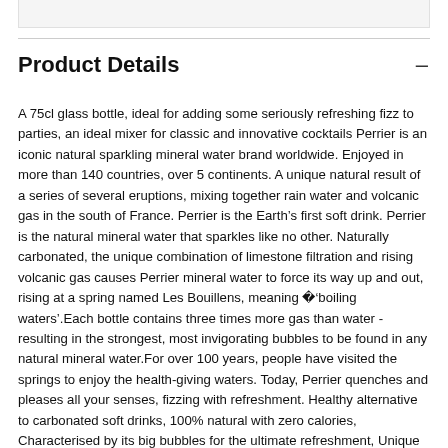Product Details
A 75cl glass bottle, ideal for adding some seriously refreshing fizz to parties, an ideal mixer for classic and innovative cocktails Perrier is an iconic natural sparkling mineral water brand worldwide. Enjoyed in more than 140 countries, over 5 continents. A unique natural result of a series of several eruptions, mixing together rain water and volcanic gas in the south of France. Perrier is the Earth’s first soft drink. Perrier is the natural mineral water that sparkles like no other. Naturally carbonated, the unique combination of limestone filtration and rising volcanic gas causes Perrier mineral water to force its way up and out, rising at a spring named Les Bouillens, meaning �‘boiling waters’.Each bottle contains three times more gas than water - resulting in the strongest, most invigorating bubbles to be found in any natural mineral water.For over 100 years, people have visited the springs to enjoy the health-giving waters. Today, Perrier quenches and pleases all your senses, fizzing with refreshment. Healthy alternative to carbonated soft drinks, 100% natural with zero calories, Characterised by its big bubbles for the ultimate refreshment, Unique taste due to its very low carbonate and sodium content, Natural drink that sparkles like no other, 100% Recyclable